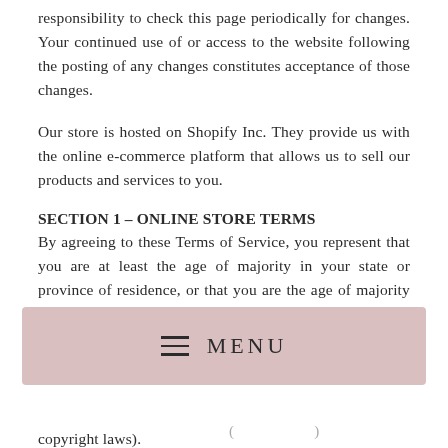responsibility to check this page periodically for changes. Your continued use of or access to the website following the posting of any changes constitutes acceptance of those changes.
Our store is hosted on Shopify Inc. They provide us with the online e-commerce platform that allows us to sell our products and services to you.
SECTION 1 – ONLINE STORE TERMS
By agreeing to these Terms of Service, you represent that you are at least the age of majority in your state or province of residence, or that you are the age of majority in your state or province of residence and you have given us your consent to allow any of your minor dependents to use this site.
[Figure (other): Mobile navigation menu bar with hamburger icon and MENU text on a dusty rose/pink background]
copyright laws).